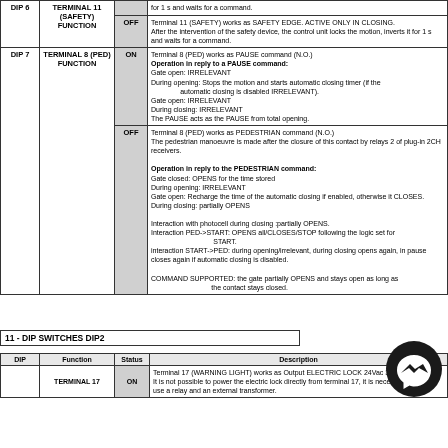| DIP | Function | Status | Description |
| --- | --- | --- | --- |
| DIP 6 | TERMINAL 11 (SAFETY) FUNCTION |  | for 1 s and waits for a command. |
| DIP 6 | TERMINAL 11 (SAFETY) FUNCTION | OFF | Terminal 11 (SAFETY) works as SAFETY EDGE. ACTIVE ONLY IN CLOSING. After the intervention of the safety device, the control unit locks the motion, inverts it for 1 s and waits for a command. |
| DIP 7 | TERMINAL 8 (PED) FUNCTION | ON | Terminal 8 (PED) works as PAUSE command (N.O.) Operation in reply to a PAUSE command: Gate open: IRRELEVANT During opening: Stops the motion and starts automatic closing timer (if the automatic closing is disabled IRRELEVANT). Gate open: IRRELEVANT During closing: IRRELEVANT The PAUSE acts as the PAUSE from total opening. |
| DIP 7 | TERMINAL 8 (PED) FUNCTION | OFF | Terminal 8 (PED) works as PEDESTRIAN command (N.O.) The pedestrian manoeuvre is made after the closure of this contact by relays 2 of plug-in 2CH receivers. Operation in reply to the PEDESTRIAN command: Gate closed: OPENS for the time stored During opening: IRRELEVANT Gate open: Recharge the time of the automatic closing if enabled, otherwise it CLOSES. During closing: partially OPENS Interaction with photocell during closing :partially OPENS. Interaction PED->START: OPENS all/CLOSES/STOP following the logic set for START. interaction START->PED: during opening/irrelevant, during closing opens again, in pause closes again if automatic closing is disabled. COMMAND SUPPORTED: the gate partially OPENS and stays open as long as the contact stays closed. |
11 - DIP SWITCHES DIP2
| DIP | Function | Status | Description |
| --- | --- | --- | --- |
|  | TERMINAL 17 | ON | Terminal 17 (WARNING LIGHT) works as Output ELECTRIC LOCK 24Vac 3W max. It is not possible to power the electric lock directly from terminal 17, it is necessary to use a relay and an external transformer. |